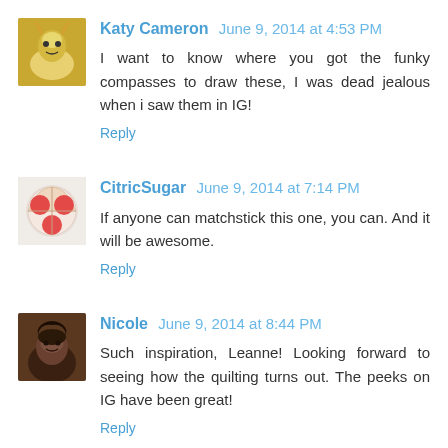Katy Cameron  June 9, 2014 at 4:53 PM
I want to know where you got the funky compasses to draw these, I was dead jealous when i saw them in IG!
Reply
CitricSugar  June 9, 2014 at 7:14 PM
If anyone can matchstick this one, you can. And it will be awesome.
Reply
Nicole  June 9, 2014 at 8:44 PM
Such inspiration, Leanne! Looking forward to seeing how the quilting turns out. The peeks on IG have been great!
Reply